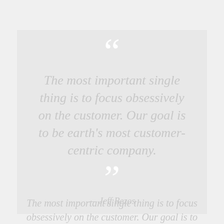[Figure (other): A light gray quote card with large decorative opening and closing quotation marks in white, containing an italicized quote in gray text attributed to Jeff Bezos]
The most important single thing is to focus obsessively on the customer. Our goal is to